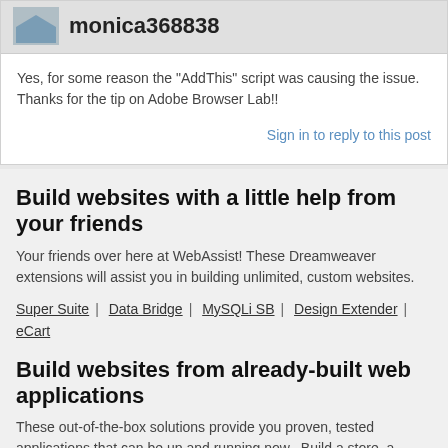[Figure (screenshot): User avatar placeholder image for monica368838]
monica368838
Yes, for some reason the "AddThis" script was causing the issue. Thanks for the tip on Adobe Browser Lab!!
Sign in to reply to this post
Build websites with a little help from your friends
Your friends over here at WebAssist! These Dreamweaver extensions will assist you in building unlimited, custom websites.
Super Suite | Data Bridge | MySQLi SB | Design Extender | eCart
Build websites from already-built web applications
These out-of-the-box solutions provide you proven, tested applications that can be up and running now. Build a store, a gallery, or a web-based email solution.
PowerStore | PowerGallery | PowerMessenger